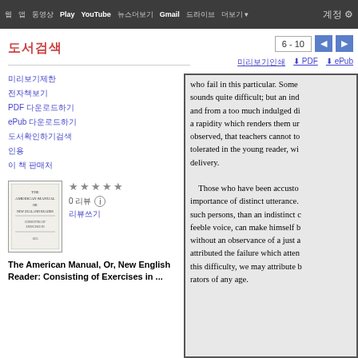웹 앱 동영상 Play YouTube 뉴스더보기 Gmail 드라이브 더보기▾ 계정설정
도서검색
미리보기제한
전자책보기
PDF 다운로드하기
ePub 다운로드하기
도서확인하기검색
인용
이 책 판매처
[Figure (other): Book cover thumbnail for The American Manual, Or, New English Reader]
The American Manual, Or, New English Reader: Consisting of Exercises in ...
who fail in this particular. Some sounds quite difficult; but an ind and from a too much indulged di a rapidity which renders them ur observed, that teachers cannot to tolerated in the young reader, wi delivery.
    Those who have been accusto importance of distinct utterance. such persons, than an indistinct c feeble voice, can make himself b without an observance of a just a attributed the failure which atten this difficulty, we may attribute b rators of any age.